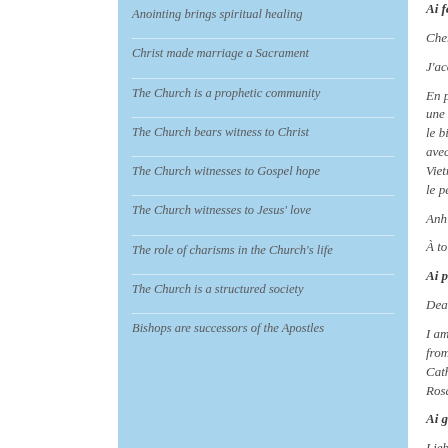Anointing brings spiritual healing
Christ made marriage a Sacrament
The Church is a prophetic community
The Church bears witness to Christ
The Church witnesses to Gospel hope
The Church witnesses to Jesus' love
The role of charisms in the Church's life
The Church is a structured society
Bishops are successors of the Apostles
Ai fedeli di lingua francese
Chers frères et sœurs,
J'accueille avec joie les pèlerin
En particulier, j'adresse un salu une semaine de réflexion théo le bicentenaire des apparitions avec les catholiques de votre p Vietnamiens. Que Notre-Dame le peuple catholique vietnamie.
Anh chi em thân mẹn, tôi vân d
À toutes les personnes présen
Ai presenti di espressione ingle
Dear Brothers and Sisters,
I am pleased to greet the Engli from England, Greenland, Can Catholic School in Stourbridge, Rosa. Upon all of you I cordiall
Ai gruppi di lingua tedesca
Liebe Schwestern und Brüderh
Mit dieser kurzen Betrachtung Gruß gilt den Teilnehmern der